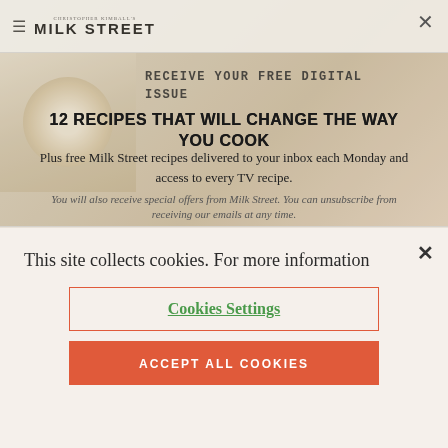[Figure (screenshot): Milk Street magazine website screenshot showing header with logo, magazine thumbnail, and newsletter signup modal overlay with food background]
12 RECIPES THAT WILL CHANGE THE WAY YOU COOK
Plus free Milk Street recipes delivered to your inbox each Monday and access to every TV recipe.
You will also receive special offers from Milk Street. You can unsubscribe from receiving our emails at any time.
This site collects cookies. For more information
Cookies Settings
ACCEPT ALL COOKIES